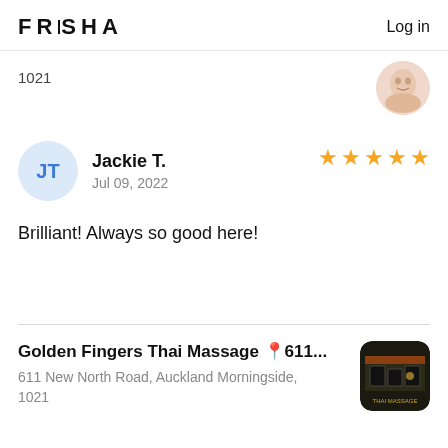FRESHA   Log in
1021
Jackie T.
Jul 09, 2022
★★★★★
Brilliant! Always so good here!
Golden Fingers Thai Massage 📍611...
611 New North Road, Auckland Morningside, 1021